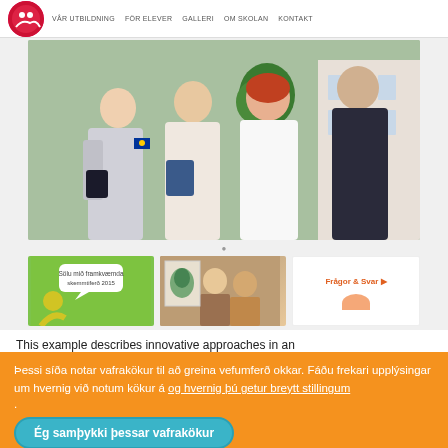[Figure (screenshot): Screenshot of a Swedish school website with a navigation bar (VÅR UTBILDNING, FÖR ELEVER, GALLERI, OM SKOLAN, KONTAKT), a hero photo of students, dot navigation indicator, and a thumbnail row with a green card, a photo of students, and a white card with text 'Frågor & Svar']
This example describes innovative approaches in an
Þessi síða notar vafrakökur til að greina vefumferð okkar. Fáðu frekari upplýsingar um hvernig við notum kökur á og hvernig þú getur breytt stillingum .
Ég samþykki þessar vafrakökur
Ég hafna þessum vafrakökum
during some longer holidays. A team of health